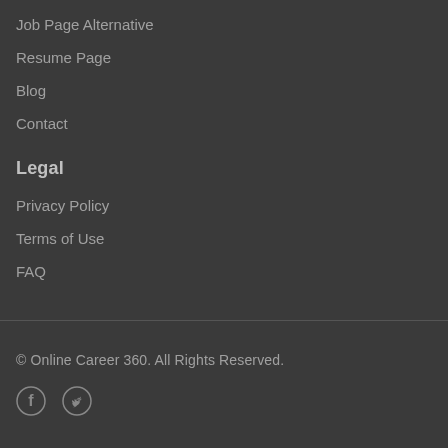Job Page Alternative
Resume Page
Blog
Contact
Legal
Privacy Policy
Terms of Use
FAQ
© Online Career 360. All Rights Reserved.